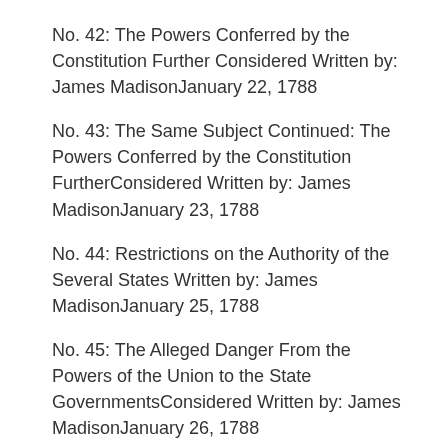No. 42: The Powers Conferred by the Constitution Further Considered Written by: James MadisonJanuary 22, 1788
No. 43: The Same Subject Continued: The Powers Conferred by the Constitution FurtherConsidered Written by: James MadisonJanuary 23, 1788
No. 44: Restrictions on the Authority of the Several States Written by: James MadisonJanuary 25, 1788
No. 45: The Alleged Danger From the Powers of the Union to the State GovernmentsConsidered Written by: James MadisonJanuary 26, 1788
No. 46: The Influence of the State and Federal Governments Compared Written by: James MadisonJanuary 29, 1788
No. 47: The Particular Structure of the New